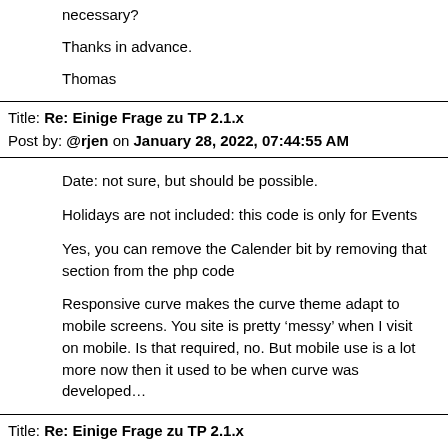necessary?
Thanks in advance.
Thomas
Title: Re: Einige Frage zu TP 2.1.x
Post by: @rjen on January 28, 2022, 07:44:55 AM
Date: not sure, but should be possible.
Holidays are not included: this code is only for Events
Yes, you can remove the Calender bit by removing that section from the php code
Responsive curve makes the curve theme adapt to mobile screens. You site is pretty ‘messy’ when I visit on mobile. Is that required, no. But mobile use is a lot more now then it used to be when curve was developed…
Title: Re: Einige Frage zu TP 2.1.x
Post by: AmaSha on January 28, 2022, 07:57:18 AM
Hi @rjen.
Many thanks for your effort.